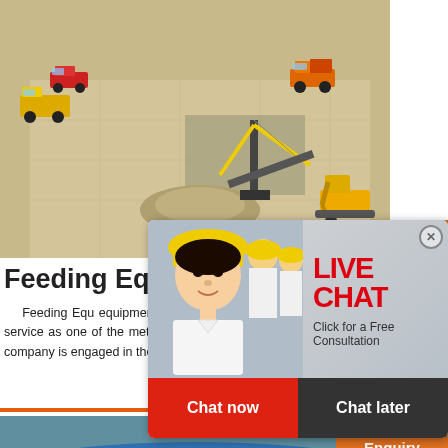[Figure (illustration): 3D isometric illustration of a mining/quarrying site with dump trucks, excavator, conveyor belt, cranes, ore piles on sandy/stone terrain background]
Feeding Equ
Feeding Equ equipment in madagascar. J specialized in service as one of the metallurgical mineral p enterprise our company is engaged in the mineral
[Figure (photo): Live chat popup overlay showing three workers in yellow hard hats and white shirts, with 'LIVE CHAT - Click for a Free Consultation' text and Chat now / Chat later buttons]
[Figure (photo): Right sidebar on orange background showing industrial crushing/grinding machinery images]
Enjoy 3% discount
Click to Chat
Enquiry
[Figure (photo): Close-up photo of a large blue industrial ball mill machine]